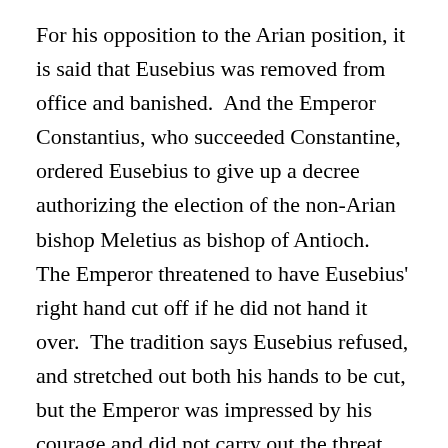For his opposition to the Arian position, it is said that Eusebius was removed from office and banished.  And the Emperor Constantius, who succeeded Constantine, ordered Eusebius to give up a decree authorizing the election of the non-Arian bishop Meletius as bishop of Antioch.  The Emperor threatened to have Eusebius' right hand cut off if he did not hand it over.  The tradition says Eusebius refused, and stretched out both his hands to be cut, but the Emperor was impressed by his courage and did not carry out the threat.
When the Emperor Julian (361–363) became